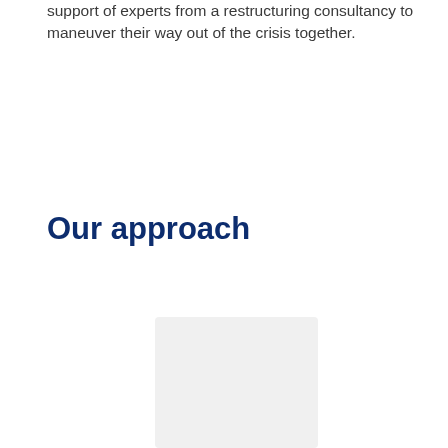support of experts from a restructuring consultancy to maneuver their way out of the crisis together.
Our approach
[Figure (photo): A partially visible image placeholder with light gray background, representing a photo or illustration related to 'Our approach' section.]